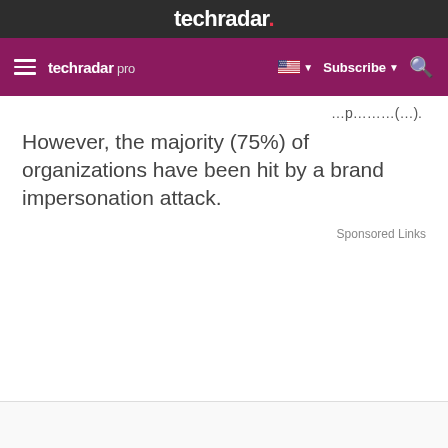techradar.
techradar pro  Subscribe
However, the majority (75%) of organizations have been hit by a brand impersonation attack.
Sponsored Links